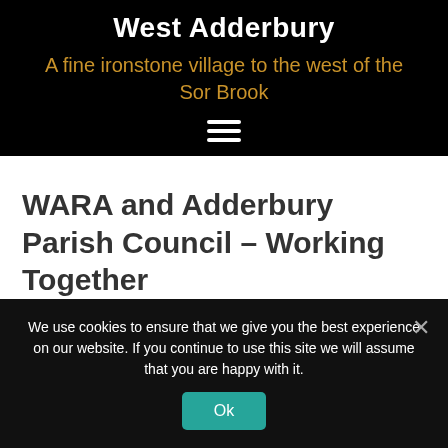West Adderbury
A fine ironstone village to the west of the Sor Brook
WARA and Adderbury Parish Council – Working Together
We use cookies to ensure that we give you the best experience on our website. If you continue to use this site we will assume that you are happy with it.